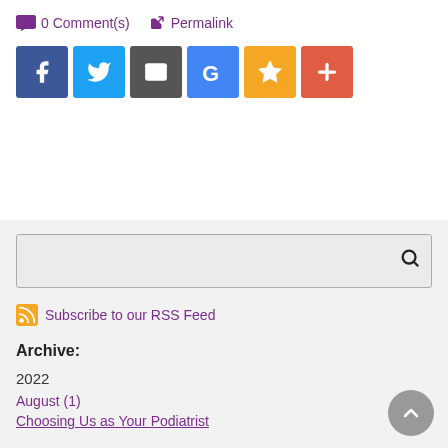0 Comment(s)   Permalink
[Figure (infographic): Row of social sharing icons: Facebook (blue), Twitter (light blue), Email (grey), Google (blue), Favorites star (yellow), Plus (orange-red)]
[Figure (other): Search bar with magnifier icon]
Subscribe to our RSS Feed
Archive:
2022
August (1)
Choosing Us as Your Podiatrist